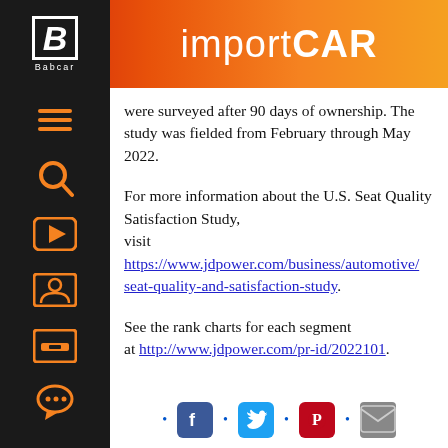importCAR
were surveyed after 90 days of ownership. The study was fielded from February through May 2022.
For more information about the U.S. Seat Quality Satisfaction Study, visit https://www.jdpower.com/business/automotive/seat-quality-and-satisfaction-study.
See the rank charts for each segment at http://www.jdpower.com/pr-id/2022101.
[Figure (other): Social media share icons: Facebook, Twitter, Pinterest, Email with bullet separators]